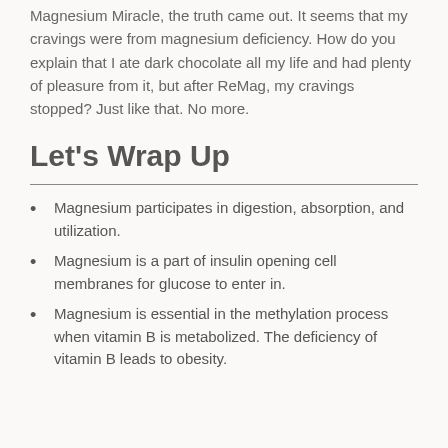Magnesium Miracle, the truth came out. It seems that my cravings were from magnesium deficiency. How do you explain that I ate dark chocolate all my life and had plenty of pleasure from it, but after ReMag, my cravings stopped? Just like that. No more.
Let's Wrap Up
Magnesium participates in digestion, absorption, and utilization.
Magnesium is a part of insulin opening cell membranes for glucose to enter in.
Magnesium is essential in the methylation process when vitamin B is metabolized. The deficiency of vitamin B leads to obesity.